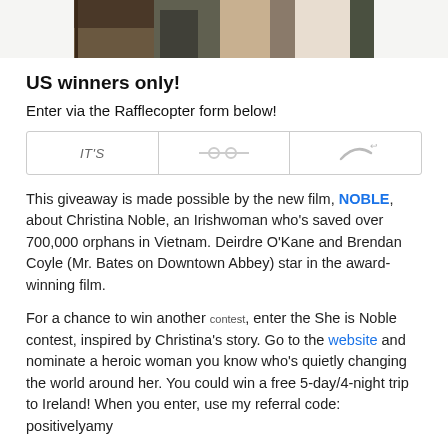[Figure (photo): Cropped bottom of a photo showing people standing, partial view of figures in a room.]
US winners only!
Enter via the Rafflecopter form below!
[Figure (screenshot): Rafflecopter form widget showing IT'S and partial icons/controls.]
This giveaway is made possible by the new film, NOBLE, about Christina Noble, an Irishwoman who's saved over 700,000 orphans in Vietnam. Deirdre O'Kane and Brendan Coyle (Mr. Bates on Downtown Abbey) star in the award-winning film.
For a chance to win another contest, enter the She is Noble contest, inspired by Christina's story. Go to the website and nominate a heroic woman you know who's quietly changing the world around her. You could win a free 5-day/4-night trip to Ireland! When you enter, use my referral code: positivelyamy